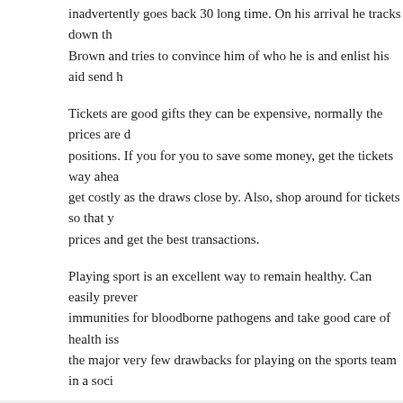inadvertently goes back 30 long time. On his arrival he tracks down th Brown and tries to convince him of who he is and enlist his aid send h
Tickets are good gifts they can be expensive, normally the prices are d positions. If you for you to save some money, get the tickets way ahea get costly as the draws close by. Also, shop around for tickets so that y prices and get the best transactions.
Playing sport is an excellent way to remain healthy. Can easily prever immunities for bloodborne pathogens and take good care of health iss the major very few drawbacks for playing on the sports team in a soci
filed under: uncategorized ·
Jun 29, 2022
Perjudian Online – Fakta Da
by admin ·
Dalam semua hal yang mungkin, bagaimana perjudian menjadi pembi